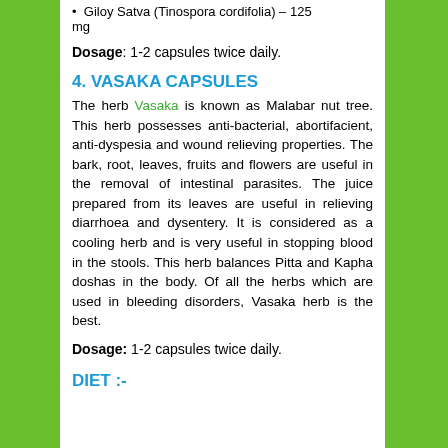Giloy Satva (Tinospora cordifolia) – 125 mg
Dosage: 1-2 capsules twice daily.
4. VASAKA CAPSULES
The herb Vasaka is known as Malabar nut tree. This herb possesses anti-bacterial, abortifacient, anti-dyspesia and wound relieving properties. The bark, root, leaves, fruits and flowers are useful in the removal of intestinal parasites. The juice prepared from its leaves are useful in relieving diarrhoea and dysentery. It is considered as a cooling herb and is very useful in stopping blood in the stools. This herb balances Pitta and Kapha doshas in the body. Of all the herbs which are used in bleeding disorders, Vasaka herb is the best.
Dosage: 1-2 capsules twice daily.
DIET :-